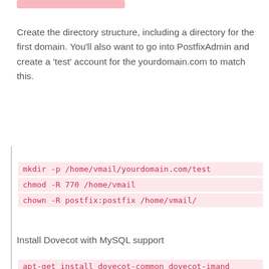Create the directory structure, including a directory for the first domain. You'll also want to go into PostfixAdmin and create a 'test' account for the yourdomain.com to match this.
mkdir -p /home/vmail/yourdomain.com/test
chmod -R 770 /home/vmail
chown -R postfix:postfix /home/vmail/
Install Dovecot with MySQL support
apt-get install dovecot-common dovecot-imand